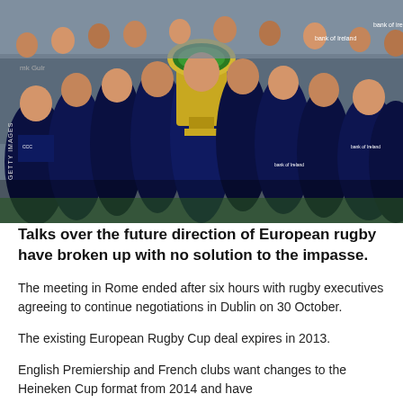[Figure (photo): Rugby players in navy blue jerseys celebrating with a large trophy (European Rugby Cup). Players are from Leinster, wearing Canterbury and Bank of Ireland sponsored shirts. Getty Images watermark visible on the left side.]
Talks over the future direction of European rugby have broken up with no solution to the impasse.
The meeting in Rome ended after six hours with rugby executives agreeing to continue negotiations in Dublin on 30 October.
The existing European Rugby Cup deal expires in 2013.
English Premiership and French clubs want changes to the Heineken Cup format from 2014 and have